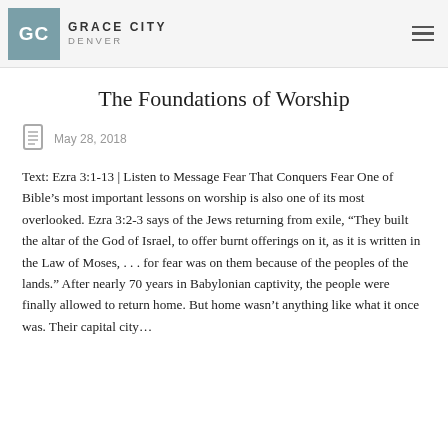GRACE CITY DENVER
The Foundations of Worship
May 28, 2018
Text: Ezra 3:1-13 | Listen to Message Fear That Conquers Fear One of Bible’s most important lessons on worship is also one of its most overlooked. Ezra 3:2-3 says of the Jews returning from exile, “They built the altar of the God of Israel, to offer burnt offerings on it, as it is written in the Law of Moses, . . . for fear was on them because of the peoples of the lands.” After nearly 70 years in Babylonian captivity, the people were finally allowed to return home. But home wasn’t anything like what it once was. Their capital city…